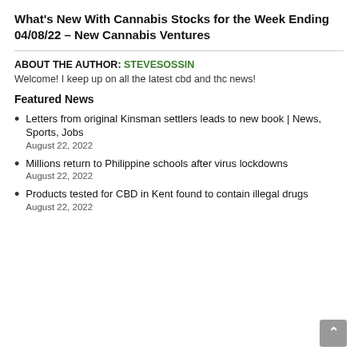What's New With Cannabis Stocks for the Week Ending 04/08/22 – New Cannabis Ventures
ABOUT THE AUTHOR: STEVESOSSIN
Welcome! I keep up on all the latest cbd and thc news!
Featured News
Letters from original Kinsman settlers leads to new book | News, Sports, Jobs
August 22, 2022
Millions return to Philippine schools after virus lockdowns
August 22, 2022
Products tested for CBD in Kent found to contain illegal drugs
August 22, 2022